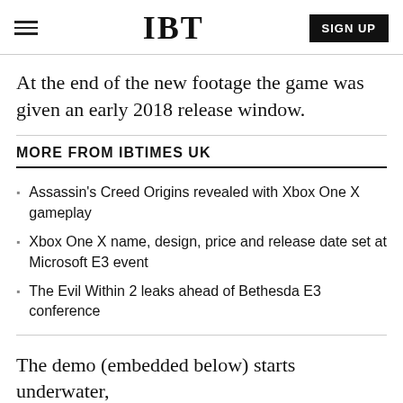IBT | SIGN UP
At the end of the new footage the game was given an early 2018 release window.
MORE FROM IBTIMES UK
Assassin's Creed Origins revealed with Xbox One X gameplay
Xbox One X name, design, price and release date set at Microsoft E3 event
The Evil Within 2 leaks ahead of Bethesda E3 conference
The demo (embedded below) starts underwater,